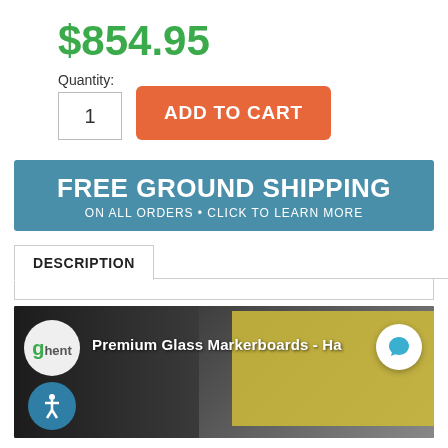$854.95
Quantity: 1
ADD TO CART
FREE GROUND SHIPPING
ON ALL ORDERS • CLICK TO LEARN MORE
DESCRIPTION
[Figure (screenshot): Video thumbnail showing Ghent Premium Glass Markerboards with a bookshelf and yellow markerboard in the background]